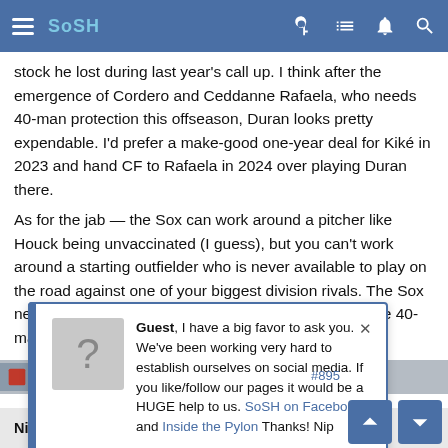SoSH [navigation bar]
stock he lost during last year's call up. I think after the emergence of Cordero and Ceddanne Rafaela, who needs 40-man protection this offseason, Duran looks pretty expendable. I'd prefer a make-good one-year deal for Kiké in 2023 and hand CF to Rafaela in 2024 over playing Duran there.
As for the jab — the Sox can work around a pitcher like Houck being unvaccinated (I guess), but you can't work around a starting outfielder who is never available to play on the road against one of your biggest division rivals. The Sox need to make a 3-for-1 or 4-for-1 deal soon to ease the 40-man crunch, and I expect Duran will be part of that.
[Figure (screenshot): Popup notification: Guest, I have a big favor to ask you. We've been working very hard to establish ourselves on social media. If you like/follow our pages it would be a HUGE help to us. SoSH on Facebook and Inside the Pylon Thanks! Nip]
Niostri said: